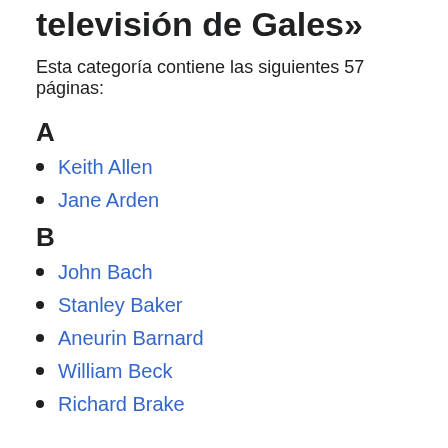televisión de Gales»
Esta categoría contiene las siguientes 57 páginas:
A
Keith Allen
Jane Arden
B
John Bach
Stanley Baker
Aneurin Barnard
William Beck
Richard Brake